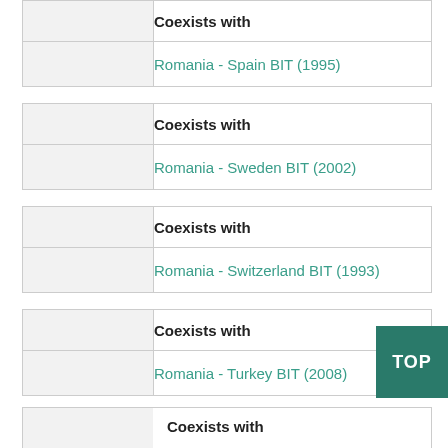|  | Coexists with |
| --- | --- |
|  | Romania - Spain BIT (1995) |
|  | Coexists with |
| --- | --- |
|  | Romania - Sweden BIT (2002) |
|  | Coexists with |
| --- | --- |
|  | Romania - Switzerland BIT (1993) |
|  | Coexists with |
| --- | --- |
|  | Romania - Turkey BIT (2008) |
|  | Coexists with |
| --- | --- |
|  |  |